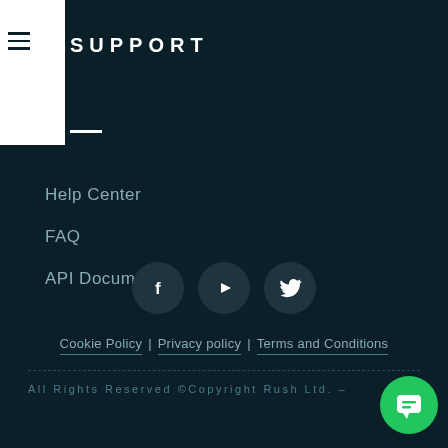SUPPORT
Help Center
FAQ
API Document
[Figure (infographic): Three social media icons in dark circles: Facebook (f), YouTube (play button), Twitter (bird)]
Cookie Policy | Privacy policy | Terms and Conditions
All Rights Reserved ©Copyright Rush Ltd. -